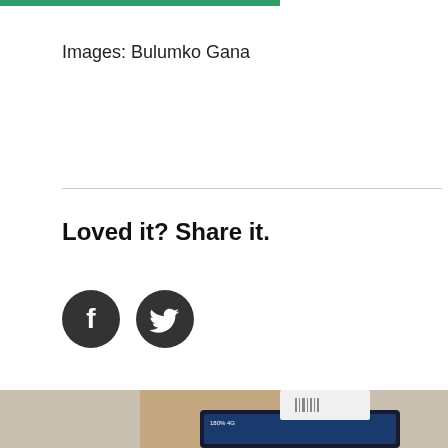Images: Bulumko Gana
Loved it? Share it.
[Figure (illustration): Facebook and Twitter social share icon buttons — two dark circular icons with white 'f' and bird/twitter logos respectively]
[Figure (photo): A hand holding a smartphone with a receipt printer or card reader device attached at the top, showing mobile payment setup]